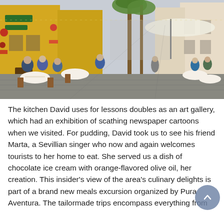[Figure (photo): Outdoor restaurant street scene in a Mediterranean town with yellow buildings, palm trees, and many diners seated at white-clothed tables along a pedestrian street.]
The kitchen David uses for lessons doubles as an art gallery, which had an exhibition of scathing newspaper cartoons when we visited. For pudding, David took us to see his friend Marta, a Sevillian singer who now and again welcomes tourists to her home to eat. She served us a dish of chocolate ice cream with orange-flavored olive oil, her creation. This insider's view of the area's culinary delights is part of a brand new meals excursion organized by Pura Aventura. The tailormade trips encompass everything from